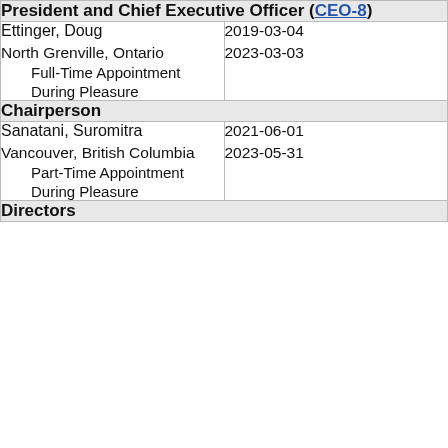| President and Chief Executive Officer (CEO-8) |  |
| Ettinger, Doug
North Grenville, Ontario
    Full-Time Appointment
    During Pleasure | 2019-03-04
2023-03-03 |
| Chairperson |  |
| Sanatani, Suromitra
Vancouver, British Columbia
    Part-Time Appointment
    During Pleasure | 2021-06-01
2023-05-31 |
| Directors |  |